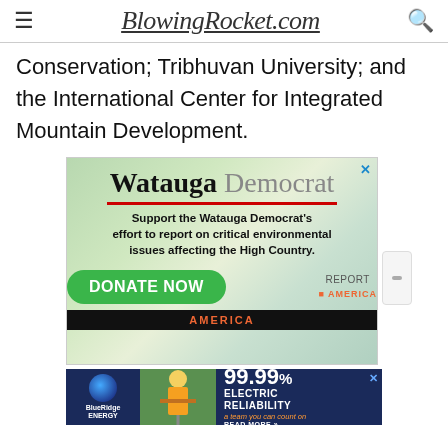BlowingRocket.com
Conservation; Tribhuvan University; and the International Center for Integrated Mountain Development.
[Figure (illustration): Watauga Democrat advertisement: 'Support the Watauga Democrat's effort to report on critical environmental issues affecting the High Country.' with a DONATE NOW button and Report for America logo]
[Figure (illustration): Blue Ridge Energy advertisement: 99.99% ELECTRIC RELIABILITY - a team you can count on. READ MORE >>]